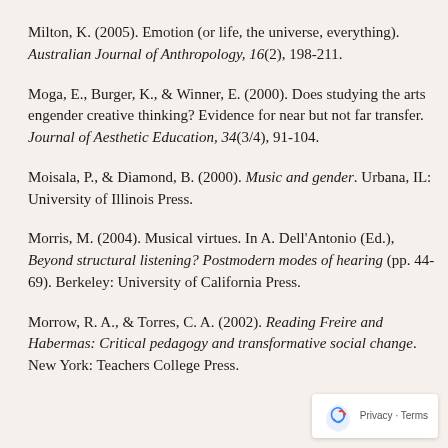Milton, K. (2005). Emotion (or life, the universe, everything). Australian Journal of Anthropology, 16(2), 198-211.
Moga, E., Burger, K., & Winner, E. (2000). Does studying the arts engender creative thinking? Evidence for near but not far transfer. Journal of Aesthetic Education, 34(3/4), 91-104.
Moisala, P., & Diamond, B. (2000). Music and gender. Urbana, IL: University of Illinois Press.
Morris, M. (2004). Musical virtues. In A. Dell'Antonio (Ed.), Beyond structural listening? Postmodern modes of hearing (pp. 44-69). Berkeley: University of California Press.
Morrow, R. A., & Torres, C. A. (2002). Reading Freire and Habermas: Critical pedagogy and transformative social change. New York: Teachers College Press.